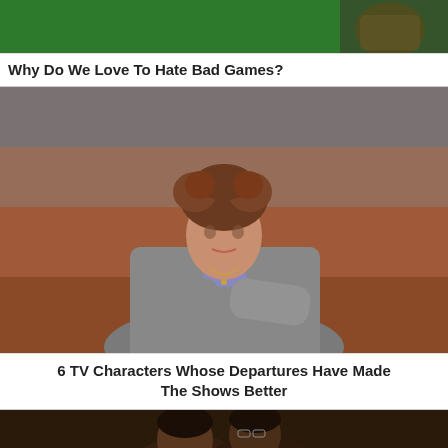[Figure (photo): Partial top image showing a green background with what appears to be a game-related graphic]
Why Do We Love To Hate Bad Games?
[Figure (photo): A woman with short curly brown hair wearing a grey cardigan over a lavender top, arms crossed, looking at camera]
6 TV Characters Whose Departures Have Made The Shows Better
[Figure (photo): Dark image showing two people, partial view, bottom of page]